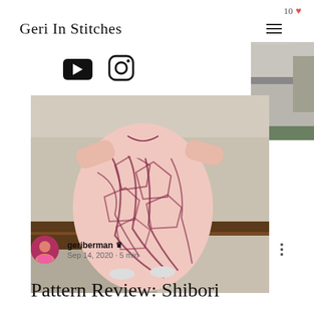10 ♥
Geri In Stitches
[Figure (illustration): YouTube icon (black rounded rectangle with white play triangle)]
[Figure (illustration): Instagram icon (camera outline)]
[Figure (photo): Person wearing a flowing pink shibori-dyed dress with dark geometric pattern, standing on a bench outdoors in front of a building]
[Figure (photo): Partial background photo showing a building facade and greenery]
geriberman 👑
Sep 14, 2020 · 5 min
Pattern Review: Shibori